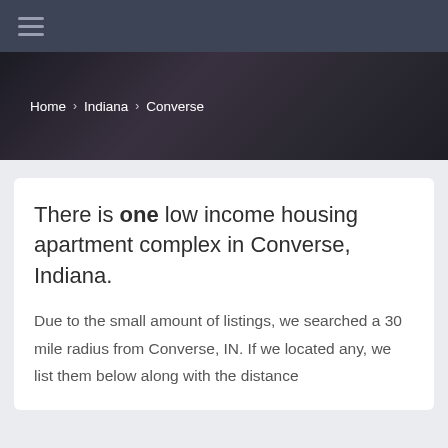≡
Home › Indiana › Converse
There is one low income housing apartment complex in Converse, Indiana.
Due to the small amount of listings, we searched a 30 mile radius from Converse, IN. If we located any, we list them below along with the distance